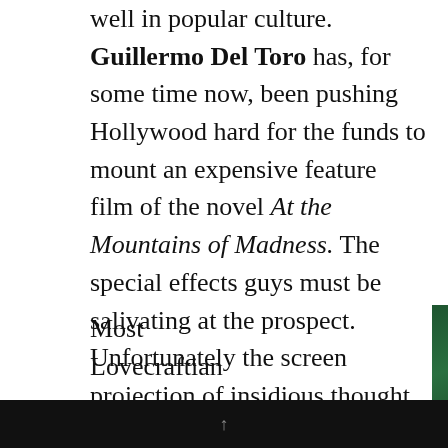well in popular culture. Guillermo Del Toro has, for some time now, been pushing Hollywood hard for the funds to mount an expensive feature film of the novel At the Mountains of Madness. The special effects guys must be salivating at the prospect. Unfortunately the screen projection of insidious thought forms has proved to be a difficult task for previous generations of film makers.
Most Lovecraftian
[Figure (photo): Book cover of 'Lurker in the Lobby: A guide to the cinema of H.P. Lovecraft' showing the title in gold text on a dark green background with a face visible at the bottom]
↑